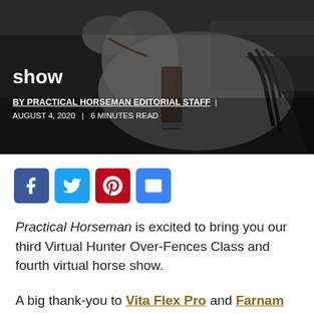[Figure (photo): Dark/moody photo of a person riding a white/gray horse, close-up view of the horse's back and rider's leg with stirrup, indoor show setting]
show
BY PRACTICAL HORSEMAN EDITORIAL STAFF | AUGUST 4, 2020 | 6 MINUTES READ
[Figure (infographic): Social media share buttons: Facebook (blue), Twitter (blue), Pinterest (red), Email (blue)]
Practical Horseman is excited to bring you our third Virtual Hunter Over-Fences Class and fourth virtual horse show.
A big thank-you to Vita Flex Pro and Farnam for their support of our show with great prizes.